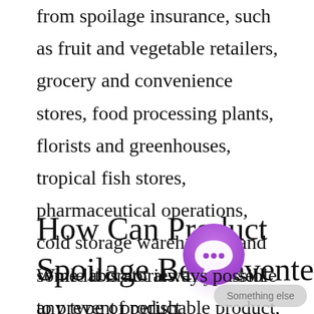from spoilage insurance, such as fruit and vegetable retailers, grocery and convenience stores, food processing plants, florists and greenhouses, tropical fish stores, pharmaceutical operations, cold storage warehouses, and some laboratories. If you sell any type of perishable product, your business can likely be covered by spoilage insurance.
How Can Product Spoilage Be Prevented?
[Figure (illustration): Purple circular chat bubble icon with a speech bubble symbol inside, with a soft purple glow/shadow behind it]
While it is not always possible to prevent product contamination or spoilage, there are some